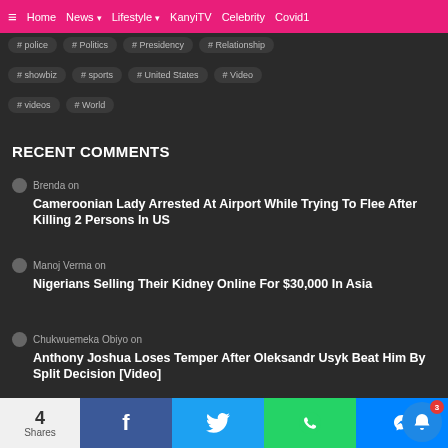≡  Home  News ▾  Lifestyle ▾  KanyiTV  Celebrity  Covid1
# police   # Politics   # Presidency   # Relationship
# showbiz   # sports   # United States   # Video
# videos   # World
RECENT COMMENTS
Brenda on
Cameroonian Lady Arrested At Airport While Trying To Flee After Killing 2 Persons In US
Manoj Verma on
Nigerians Selling Their Kidney Online For $30,000 In Asia
Chukwuemeka Obiyo on
Anthony Joshua Loses Temper After Oleksandr Usyk Beat Him By Split Decision [Video]
4 Shares  [Facebook] [Twitter] [WhatsApp] [Messenger]